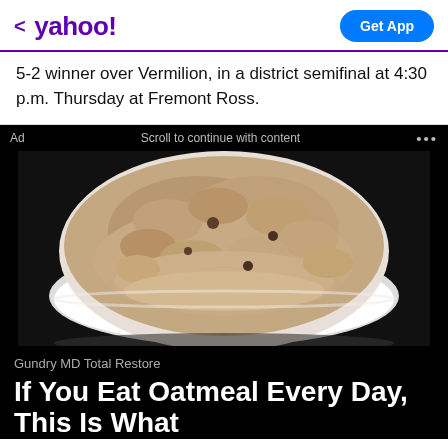< yahoo! | Get App
5-2 winner over Vermilion, in a district semifinal at 4:30 p.m. Thursday at Fremont Ross.
[Figure (photo): Advertisement banner showing a bowl of oatmeal on a dark background with ad label 'Ad', 'Scroll to continue with content', and three dots menu]
Gundry MD Total Restore
If You Eat Oatmeal Every Day, This Is What